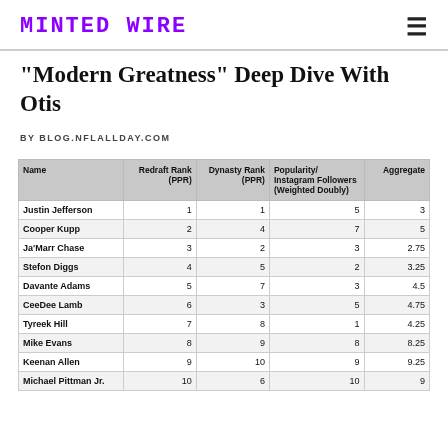MINTED WIRE
"Modern Greatness" Deep Dive With Otis
BY BLOG.NFLALLDAY.COM
| Name | Redraft Rank (PPR) | Dynasty Rank (PPR) | Popularity/ Instagram Followers (Weighted Doubly) | Aggregate |
| --- | --- | --- | --- | --- |
| Justin Jefferson | 1 | 1 | 5 | 3 |
| Cooper Kupp | 2 | 4 | 7 | 5 |
| Ja'Marr Chase | 3 | 2 | 3 | 2.75 |
| Stefon Diggs | 4 | 5 | 2 | 3.25 |
| Davante Adams | 5 | 7 | 3 | 4.5 |
| CeeDee Lamb | 6 | 3 | 5 | 4.75 |
| Tyreek Hill | 7 | 8 | 1 | 4.25 |
| Mike Evans | 8 | 9 | 8 | 8.25 |
| Keenan Allen | 9 | 10 | 9 | 9.25 |
| Michael Pittman Jr. | 10 | 6 | 10 | 9 |